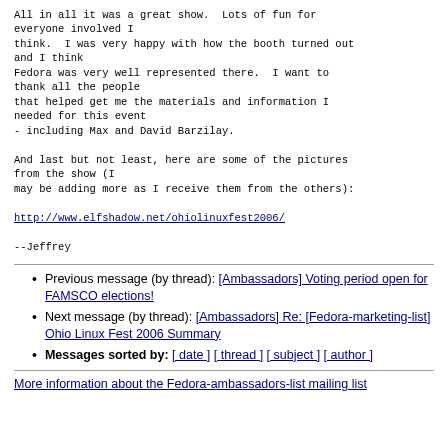All in all it was a great show.  Lots of fun for everyone involved I think.  I was very happy with how the booth turned out and I think Fedora was very well represented there.  I want to thank all the people that helped get me the materials and information I needed for this event - including Max and David Barzilay.

And last but not least, here are some of the pictures from the show (I may be adding more as I receive them from the others):

http://www.elfshadow.net/ohiolinuxfest2006/

--Jeffrey
Previous message (by thread): [Ambassadors] Voting period open for FAMSCO elections!
Next message (by thread): [Ambassadors] Re: [Fedora-marketing-list] Ohio Linux Fest 2006 Summary
Messages sorted by: [ date ] [ thread ] [ subject ] [ author ]
More information about the Fedora-ambassadors-list mailing list